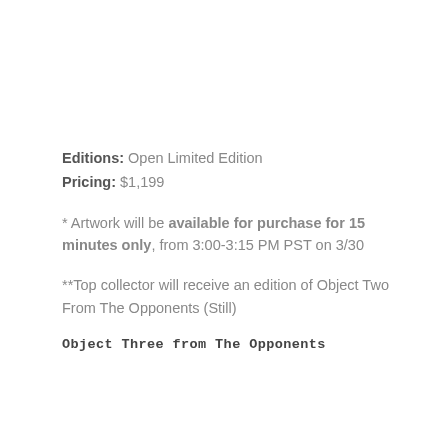Editions: Open Limited Edition
Pricing: $1,199
* Artwork will be available for purchase for 15 minutes only, from 3:00-3:15 PM PST on 3/30
**Top collector will receive an edition of Object Two From The Opponents (Still)
Object Three from The Opponents